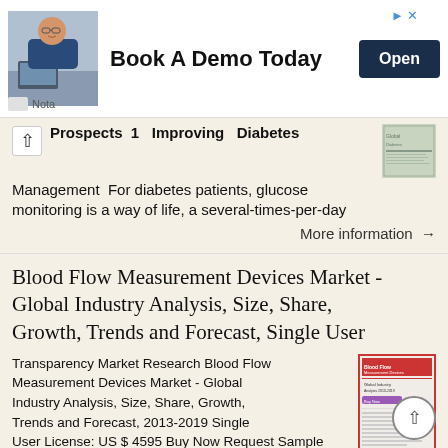[Figure (other): Advertisement banner: photo of a man in glasses at a laptop, text 'Book A Demo Today', dark blue 'Open' button, Nota logo at bottom left]
Prospects 1 Improving Diabetes Management For diabetes patients, glucose monitoring is a way of life, a several-times-per-day
More information →
Blood Flow Measurement Devices Market - Global Industry Analysis, Size, Share, Growth, Trends and Forecast, Single User
Transparency Market Research Blood Flow Measurement Devices Market - Global Industry Analysis, Size, Share, Growth, Trends and Forecast, 2013-2019 Single User License: US $ 4595 Buy Now Request Sample